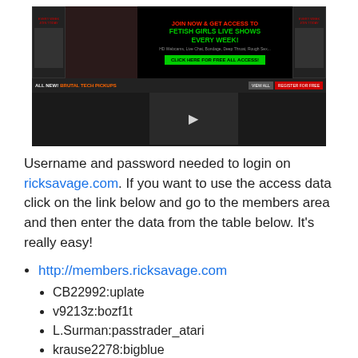[Figure (screenshot): Screenshot of an adult website with dark theme, featuring a top banner with explicit text and green button, a navigation bar, and video thumbnails below.]
Username and password needed to login on ricksavage.com. If you want to use the access data click on the link below and go to the members area and then enter the data from the table below. It's really easy!
http://members.ricksavage.com
CB22992:uplate
v9213z:bozf1t
L.Surman:passtrader_atari
krause2278:bigblue